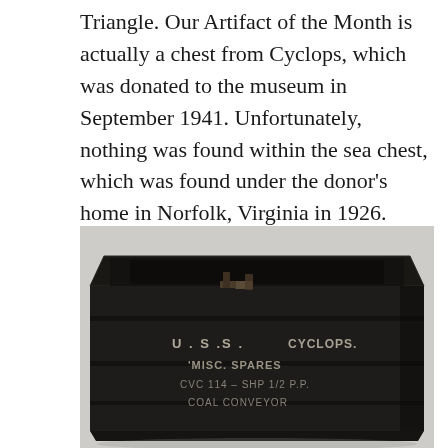Triangle. Our Artifact of the Month is actually a chest from Cyclops, which was donated to the museum in September 1941. Unfortunately, nothing was found within the sea chest, which was found under the donor's home in Norfolk, Virginia in 1926.
[Figure (photo): A dark wooden sea chest labeled 'U.S.S. CYCLOPS. MISC. SPARES. CVC 114 - SHP 1/2 P.P. COAL CONVEYOR' photographed against a light background.]